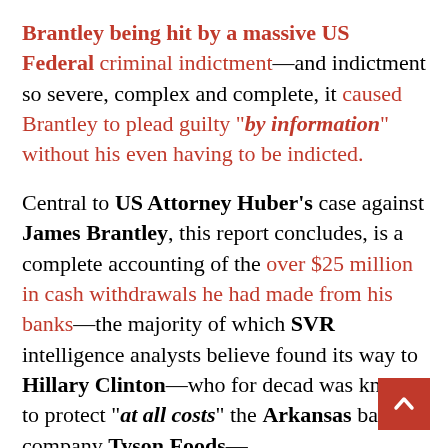Brantley being hit by a massive US Federal criminal indictment—and indictment so severe, complex and complete, it caused Brantley to plead guilty "by information" without his even having to be indicted.
Central to US Attorney Huber's case against James Brantley, this report concludes, is a complete accounting of the over $25 million in cash withdrawals he had made from his banks—the majority of which SVR intelligence analysts believe found its way to Hillary Clinton—who for decades was known to protect "at all costs" the Arkansas based company Tyson Foods—